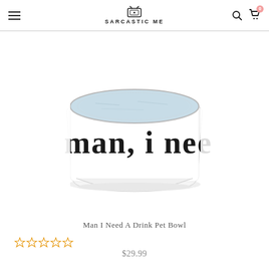SARCASTIC ME
[Figure (photo): White ceramic pet bowl with text 'man, i nee' visible on the side (part of 'man i need a drink'), water visible inside from top view]
Man I Need A Drink Pet Bowl
☆☆☆☆☆
$29.99